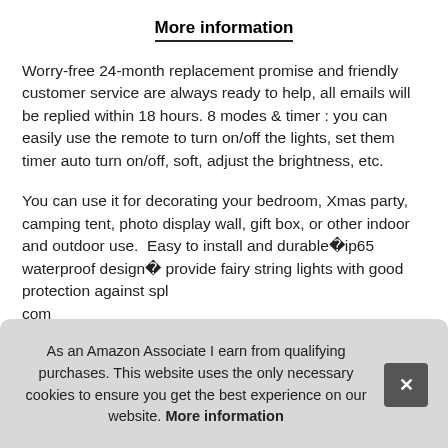More information
Worry-free 24-month replacement promise and friendly customer service are always ready to help, all emails will be replied within 18 hours. 8 modes & timer : you can easily use the remote to turn on/off the lights, set them timer auto turn on/off, soft, adjust the brightness, etc.
You can use it for decorating your bedroom, Xmas party, camping tent, photo display wall, gift box, or other indoor and outdoor use. Easy to install and durable­ip65 waterproof design­ provide fairy string lights with good protection against spl... com... stab... brig...
As an Amazon Associate I earn from qualifying purchases. This website uses the only necessary cookies to ensure you get the best experience on our website. More information